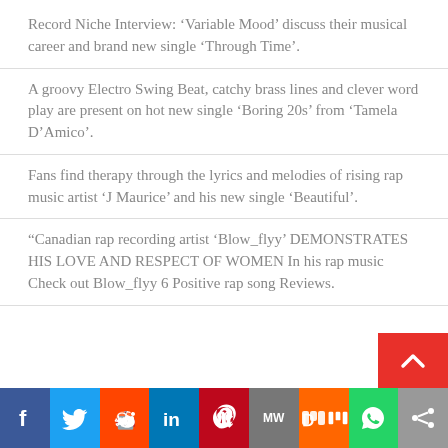Record Niche Interview: ‘Variable Mood’ discuss their musical career and brand new single ‘Through Time’.
A groovy Electro Swing Beat, catchy brass lines and clever word play are present on hot new single ‘Boring 20s’ from ‘Tamela D’Amico’.
Fans find therapy through the lyrics and melodies of rising rap music artist ‘J Maurice’ and his new single ‘Beautiful’.
“Canadian rap recording artist ‘Blow_flyy’ DEMONSTRATES HIS LOVE AND RESPECT OF WOMEN In his rap music Check out Blow_flyy 6 Positive rap song Reviews.
Social share bar: Facebook, Twitter, Reddit, LinkedIn, Pinterest, MW, Mix, WhatsApp, Share